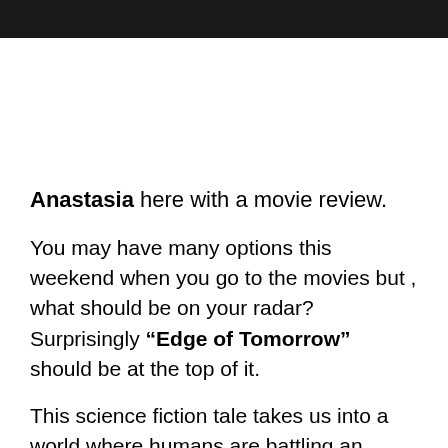Anastasia here with a movie review.
You may have many options this weekend when you go to the movies but , what should be on your radar? Surprisingly “Edge of Tomorrow” should be at the top of it.
This science fiction tale takes us into a world where humans are battling an invasion of creatures they call Mimics. Without giving too much away, Tom